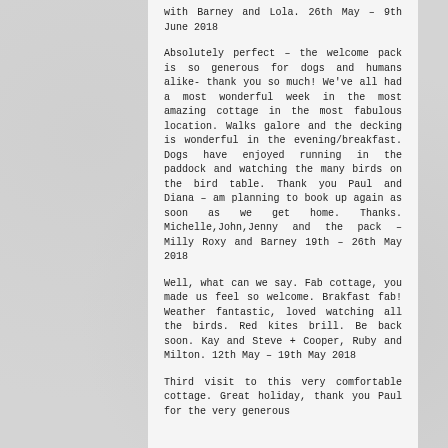with Barney and Lola. 26th May – 9th June 2018
Absolutely perfect – the welcome pack is so generous for dogs and humans alike- thank you so much! We've all had a most wonderful week in the most amazing cottage in the most fabulous location. Walks galore and the decking is wonderful in the evening/breakfast. Dogs have enjoyed running in the paddock and watching the many birds on the bird table. Thank you Paul and Diana – am planning to book up again as soon as we get home. Thanks. Michelle,John,Jenny and the pack – Milly Roxy and Barney 19th – 26th May 2018
Well, what can we say. Fab cottage, you made us feel so welcome. Brakfast fab! Weather fantastic, loved watching all the birds. Red kites brill. Be back soon. Kay and Steve + Cooper, Ruby and Milton. 12th May – 19th May 2018
Third visit to this very comfortable cottage. Great holiday, thank you Paul for the very generous